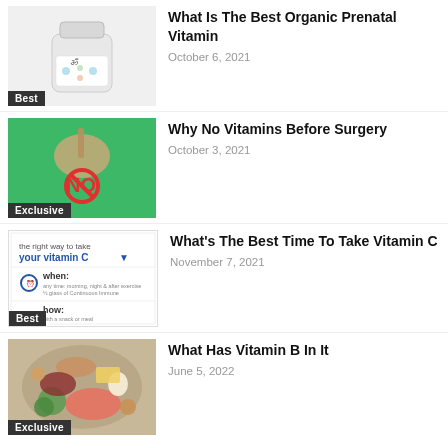[Figure (photo): White vitamin/supplement bottle with floral design label, 'Best' badge overlay]
What Is The Best Organic Prenatal Vitamin
October 6, 2021
[Figure (photo): Hand holding a spoon with a red NO symbol, green background, 'Exclusive' badge overlay]
Why No Vitamins Before Surgery
October 3, 2021
[Figure (infographic): Infographic about the right way to take vitamin C - when and how, 'Best' badge overlay]
What's The Best Time To Take Vitamin C
November 7, 2021
[Figure (photo): Overhead view of various foods rich in vitamin B - salmon, nuts, vegetables, eggs, 'Exclusive' badge overlay]
What Has Vitamin B In It
June 5, 2022